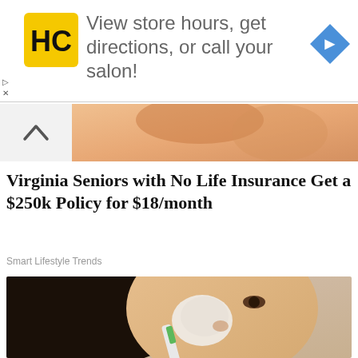[Figure (other): Advertisement banner: HC (Hairclub) logo in yellow square, text 'View store hours, get directions, or call your salon!', blue diamond navigation arrow on right]
[Figure (photo): Partial cropped photo strip showing a person's face/skin, cut off]
Virginia Seniors with No Life Insurance Get a $250k Policy for $18/month
Smart Lifestyle Trends
[Figure (photo): Photo of an Asian woman applying a white cream/face mask to her nose area using a toothbrush]